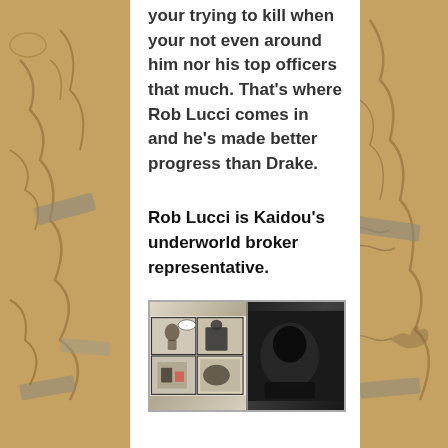your trying to kill when your not even around him nor his top officers that much. That's where Rob Lucci comes in and he's made better progress than Drake.
Rob Lucci is Kaidou's underworld broker representative.
[Figure (illustration): Manga panel showing a dark silhouetted figure alongside manga comic strip panels, and a blurred dark image on the right half.]